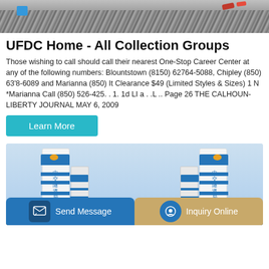[Figure (photo): Top portion of a construction/gravel site with red pipes visible, gray gravel ground]
UFDC Home - All Collection Groups
Those wishing to call should call their nearest One-Stop Career Center at any of the following numbers: Blountstown (8150) 62764-5088, Chipley (850) 63'8-6089 and Marianna (850) It Clearance $49 (Limited Styles & Sizes) 1 N *Marianna Call (850) 526-425. . 1. 1d LI a . .L .. Page 26 THE CALHOUN-LIBERTY JOURNAL MAY 6, 2009
Learn More
[Figure (photo): Two large industrial cement silos with blue and white coloring and Chinese characters on them, against a light blue sky]
Send Message
Inquiry Online